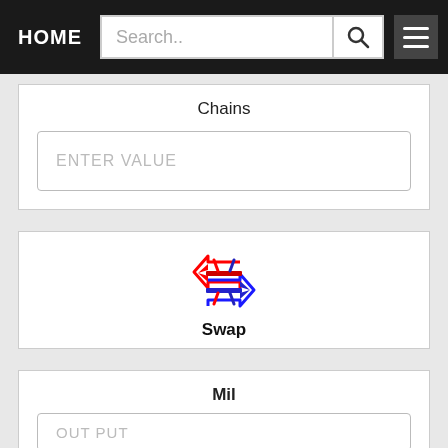HOME | Search.. | [search button] | [menu]
Chains
ENTER VALUE
[Figure (logo): Swap icon: red and blue double-headed arrow forming a hexagonal shape, with text 'Swap' below]
Mil
OUT PUT